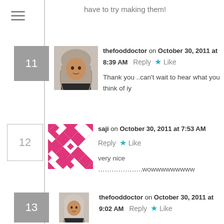have to try making them!
11 thefooddoctor on October 30, 2011 at 8:39 AM  Reply  Like
Thank you ..can't wait to hear what you think of iy
12 saji on October 30, 2011 at 7:53 AM  Reply  Like
very nice ………………..wowwwwwwwww
13 thefooddoctor on October 30, 2011 at 9:02 AM  Reply  Like